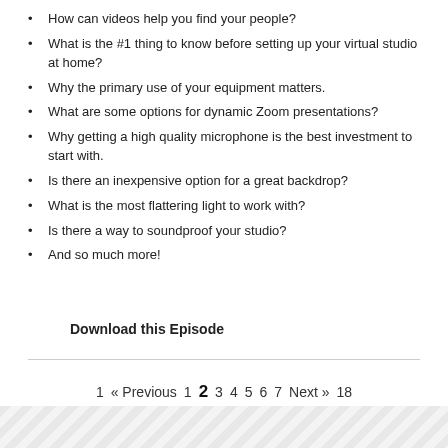How can videos help you find your people?
What is the #1 thing to know before setting up your virtual studio at home?
Why the primary use of your equipment matters.
What are some options for dynamic Zoom presentations?
Why getting a high quality microphone is the best investment to start with.
Is there an inexpensive option for a great backdrop?
What is the most flattering light to work with?
Is there a way to soundproof your studio?
And so much more!
Download this Episode
1  « Previous    1  2  3  4  5  6  7    Next »  18